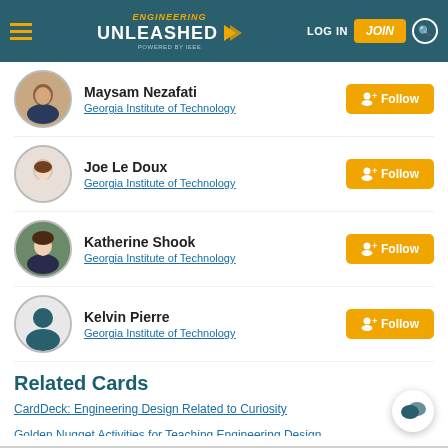Engineering Unleashed | LOG IN | JOIN
Maysam Nezafati
Georgia Institute of Technology
Joe Le Doux
Georgia Institute of Technology
Katherine Shook
Georgia Institute of Technology
Kelvin Pierre
Georgia Institute of Technology
Related Cards
CardDeck: Engineering Design Related to Curiosity
Golden Nugget Activities for Teaching Engineering Design